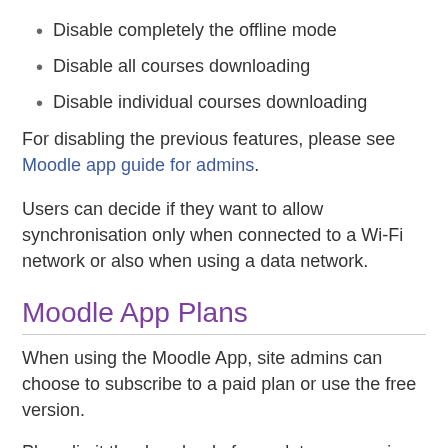Disable completely the offline mode
Disable all courses downloading
Disable individual courses downloading
For disabling the previous features, please see Moodle app guide for admins.
Users can decide if they want to allow synchronisation only when connected to a Wi-Fi network or also when using a data network.
Moodle App Plans
When using the Moodle App, site admins can choose to subscribe to a paid plan or use the free version.
Plans limit the download of complete courses in one click.
Students can still download individual contents or